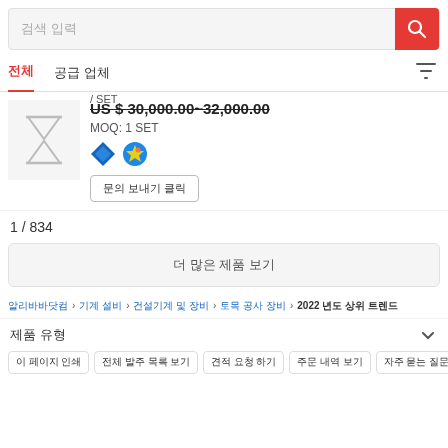검색 입력
전체  공급 업체
US $ 30,000.00~32,000.00 / SET
MOQ: 1 SET
문의 보내기 클릭
1 / 834
더 많은 제품 보기
알리바바닷컴 > 기계 설비 > 건설기계 및 장비 > 토목 공사 장비 > 2022 년도 상위 트렌드
제품 유형
이 페이지 인쇄
전체 발주 목록 보기
견적 요청 하기
주문 내역 보기
자주 묻는 질문 및 답변
관심 제품 목록
거래 이력 확인